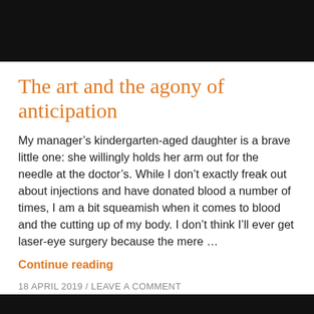[Figure (other): Black header bar at top of page]
The art and the agony of anticipation
My manager’s kindergarten-aged daughter is a brave little one: she willingly holds her arm out for the needle at the doctor’s. While I don’t exactly freak out about injections and have donated blood a number of times, I am a bit squeamish when it comes to blood and the cutting up of my body. I don’t think I’ll ever get laser-eye surgery because the mere …
Continue reading
18 APRIL 2019 / LEAVE A COMMENT
[Figure (other): Black footer bar at bottom of page]